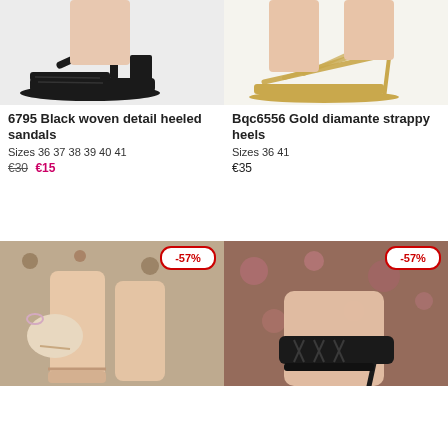[Figure (photo): Black woven detail heeled sandals product photo on white background]
[Figure (photo): Gold diamante strappy heels product photo on white background]
6795 Black woven detail heeled sandals
Sizes 36 37 38 39 40 41
€30 €15
Bqc6556 Gold diamante strappy heels
Sizes 36 41
€35
[Figure (photo): Model wearing strappy heeled sandals, floral dress, holding beige bag, -57% badge]
[Figure (photo): Model wearing black lace-up heeled sandals with floral dress, -57% badge]